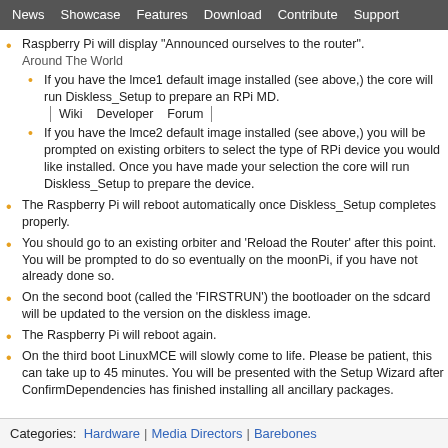News | Showcase | Features | Download | Contribute | Support
Raspberry Pi will display "Announced ourselves to the router".
Around The World
If you have the lmce1 default image installed (see above,) the core will run Diskless_Setup to prepare an RPi MD.
Wiki | Developer | Forum
If you have the lmce2 default image installed (see above,) you will be prompted on existing orbiters to select the type of RPi device you would like installed. Once you have made your selection the core will run Diskless_Setup to prepare the device.
The Raspberry Pi will reboot automatically once Diskless_Setup completes properly.
You should go to an existing orbiter and 'Reload the Router' after this point. You will be prompted to do so eventually on the moonPi, if you have not already done so.
On the second boot (called the 'FIRSTRUN') the bootloader on the sdcard will be updated to the version on the diskless image.
The Raspberry Pi will reboot again.
On the third boot LinuxMCE will slowly come to life. Please be patient, this can take up to 45 minutes. You will be presented with the Setup Wizard after ConfirmDependencies has finished installing all ancillary packages.
Categories: Hardware | Media Directors | Barebones